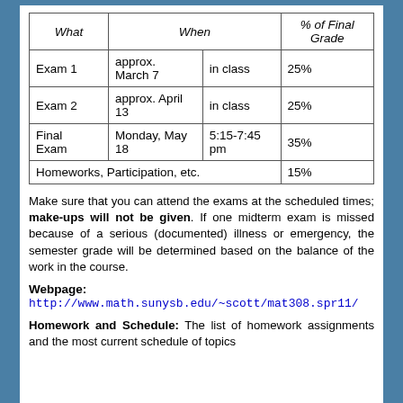| What | When | % of Final Grade |
| --- | --- | --- |
| Exam 1 | approx. March 7 | in class | 25% |
| Exam 2 | approx. April 13 | in class | 25% |
| Final Exam | Monday, May 18 | 5:15-7:45 pm | 35% |
| Homeworks, Participation, etc. |  |  | 15% |
Make sure that you can attend the exams at the scheduled times; make-ups will not be given. If one midterm exam is missed because of a serious (documented) illness or emergency, the semester grade will be determined based on the balance of the work in the course.
Webpage:
http://www.math.sunysb.edu/~scott/mat308.spr11/
Homework and Schedule: The list of homework assignments and the most current schedule of topics